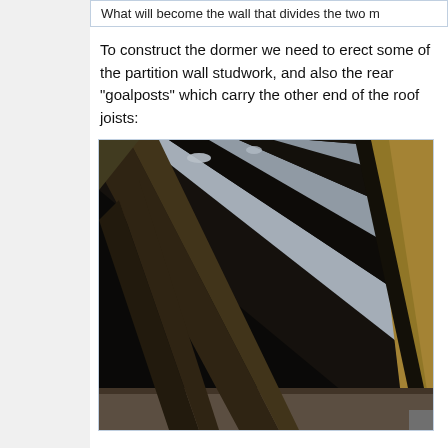What will become the wall that divides the two m
To construct the dormer we need to erect some of the partition wall studwork, and also the rear "goalposts" which carry the other end of the roof joists:
[Figure (photo): Interior view of a roof structure showing timber rafters/joists and roof boarding from below, with light visible between the rafters. Dark timber beams run diagonally across the frame.]